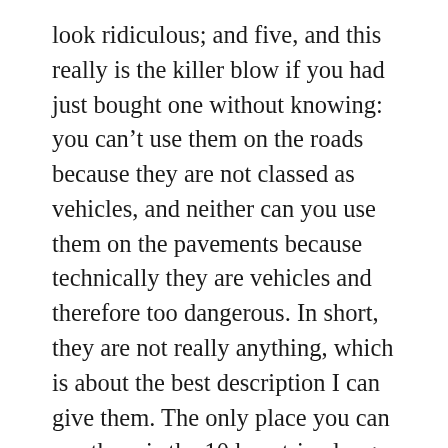look ridiculous; and five, and this really is the killer blow if you had just bought one without knowing: you can't use them on the roads because they are not classed as vehicles, and neither can you use them on the pavements because technically they are vehicles and therefore too dangerous. In short, they are not really anything, which is about the best description I can give them. The only place you can use them is the 10 km strip along the Rhone. And one final thing. The guy who owned the Segway company recently died. He drove over a cliff into the River Wharfe  in North Yorkshire. On a Segway.